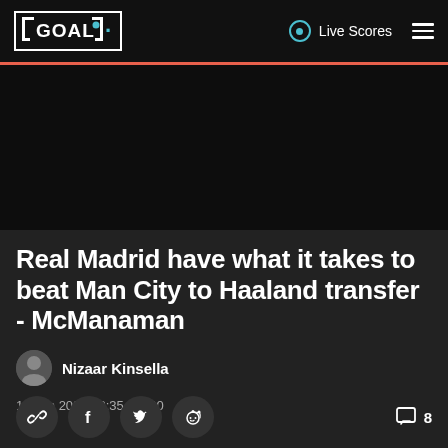GOAL | Live Scores
[Figure (photo): Dark hero image area, mostly black]
Real Madrid have what it takes to beat Man City to Haaland transfer - McManaman
Nizaar Kinsella
16 Jan 2022 12:35+00:00
Social share icons: link, facebook, twitter, reddit. Comment count: 8